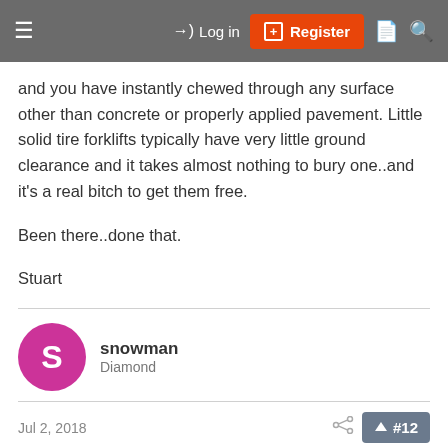Log in | Register
and you have instantly chewed through any surface other than concrete or properly applied pavement. Little solid tire forklifts typically have very little ground clearance and it takes almost nothing to bury one..and it's a real bitch to get them free.

Been there..done that.

Stuart
snowman
Diamond
Jul 2, 2018
#12